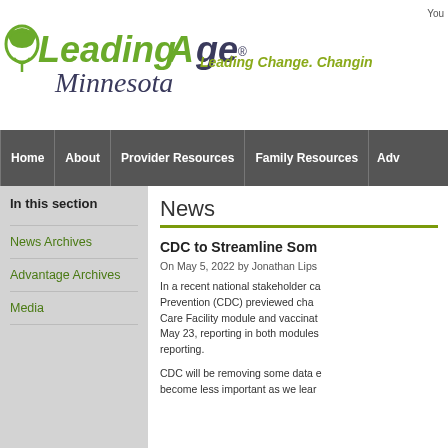You
[Figure (logo): LeadingAge Minnesota logo with leaf/cloud icon and tagline 'Leading Change. Changin...']
Home | About | Provider Resources | Family Resources | Adv...
In this section
News Archives
Advantage Archives
Media
News
CDC to Streamline Som...
On May 5, 2022 by Jonathan Lips...
In a recent national stakeholder ca... Prevention (CDC) previewed chan... Care Facility module and vaccinat... May 23, reporting in both modules... reporting.
CDC will be removing some data e... become less important as we lear...